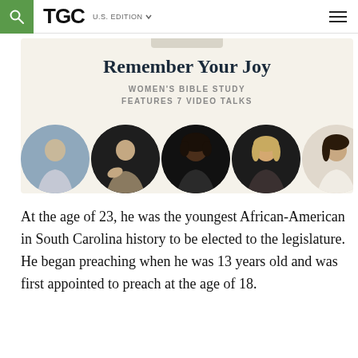TGC U.S. EDITION
[Figure (illustration): Advertisement for 'Remember Your Joy' Women's Bible Study featuring 7 video talks, showing circular portraits of five speakers on a cream background.]
At the age of 23, he was the youngest African-American in South Carolina history to be elected to the legislature. He began preaching when he was 13 years old and was first appointed to preach at the age of 18.